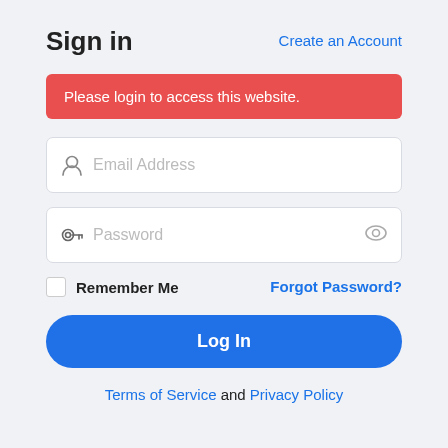Sign in
Create an Account
Please login to access this website.
Email Address
Password
Remember Me
Forgot Password?
Log In
Terms of Service and Privacy Policy